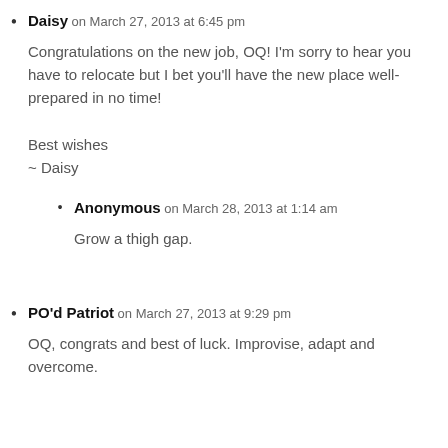Daisy on March 27, 2013 at 6:45 pm
Congratulations on the new job, OQ! I'm sorry to hear you have to relocate but I bet you'll have the new place well-prepared in no time!
Best wishes
~ Daisy
Anonymous on March 28, 2013 at 1:14 am
Grow a thigh gap.
PO'd Patriot on March 27, 2013 at 9:29 pm
OQ, congrats and best of luck. Improvise, adapt and overcome.